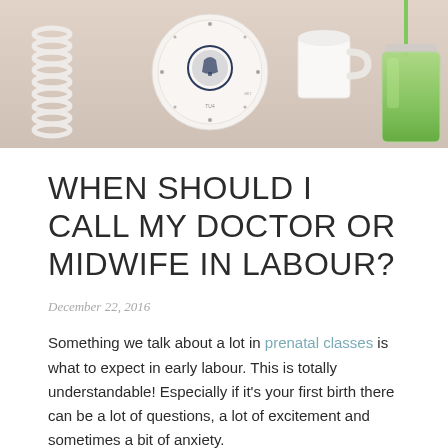[Figure (photo): Overhead flat-lay photo showing a coiled telephone cord on the left, a circular clock or dial plate with a nautical emblem in the center, a white mug, and a green smoothie in a mason jar on the right, all on a light beige/cream surface.]
WHEN SHOULD I CALL MY DOCTOR OR MIDWIFE IN LABOUR?
December 22, 2016
Something we talk about a lot in prenatal classes is what to expect in early labour. This is totally understandable! Especially if it's your first birth there can be a lot of questions, a lot of excitement and sometimes a bit of anxiety.
One thing you can do to prepare is to come up with your